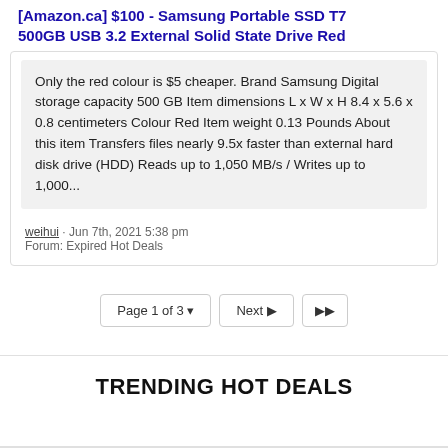[Amazon.ca] $100 - Samsung Portable SSD T7 500GB USB 3.2 External Solid State Drive Red
Only the red colour is $5 cheaper. Brand Samsung Digital storage capacity 500 GB Item dimensions L x W x H 8.4 x 5.6 x 0.8 centimeters Colour Red Item weight 0.13 Pounds About this item Transfers files nearly 9.5x faster than external hard disk drive (HDD) Reads up to 1,050 MB/s / Writes up to 1,000...
weihui · Jun 7th, 2021 5:38 pm
Forum: Expired Hot Deals
Page 1 of 3 ▾    Next ▶  ▶▶
TRENDING HOT DEALS